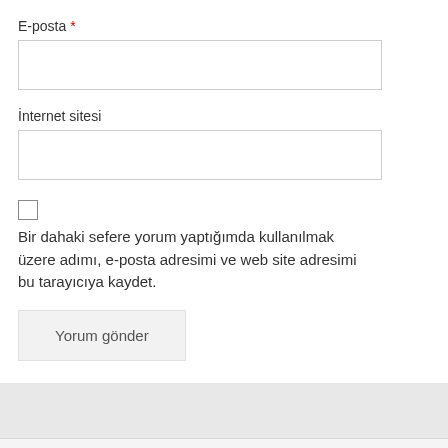E-posta *
[Figure (screenshot): Empty text input field for E-posta (email)]
İnternet sitesi
[Figure (screenshot): Empty text input field for İnternet sitesi (website)]
[Figure (screenshot): Unchecked checkbox]
Bir dahaki sefere yorum yaptığımda kullanılmak üzere adımı, e-posta adresimi ve web site adresimi bu tarayıcıya kaydet.
[Figure (screenshot): Submit button labeled 'Yorum gönder']